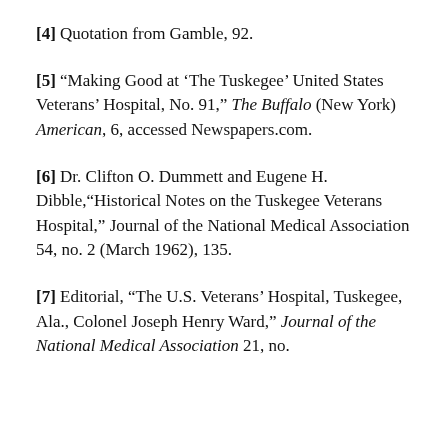[4] Quotation from Gamble, 92.
[5] “Making Good at ‘The Tuskegee’ United States Veterans’ Hospital, No. 91,” The Buffalo (New York) American, 6, accessed Newspapers.com.
[6] Dr. Clifton O. Dummett and Eugene H. Dibble,“Historical Notes on the Tuskegee Veterans Hospital,” Journal of the National Medical Association 54, no. 2 (March 1962), 135.
[7] Editorial, “The U.S. Veterans’ Hospital, Tuskegee, Ala., Colonel Joseph Henry Ward,” Journal of the National Medical Association 21, no.